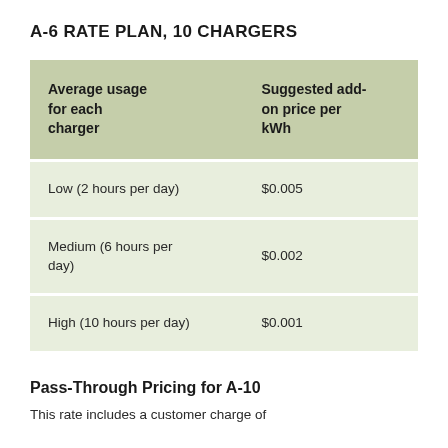A-6 RATE PLAN, 10 CHARGERS
| Average usage for each charger | Suggested add-on price per kWh |
| --- | --- |
| Low (2 hours per day) | $0.005 |
| Medium (6 hours per day) | $0.002 |
| High (10 hours per day) | $0.001 |
Pass-Through Pricing for A-10
This rate includes a customer charge of